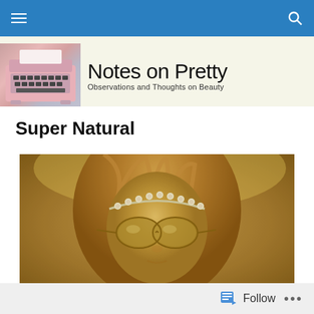Notes on Pretty — Observations and Thoughts on Beauty
Super Natural
[Figure (photo): Woman with flower crown headband and aviator sunglasses, sepia-toned vintage style photo]
Follow